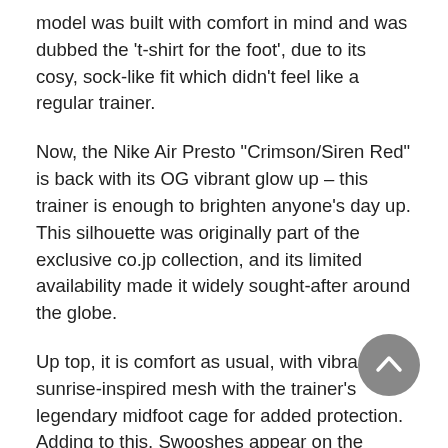model was built with comfort in mind and was dubbed the 't-shirt for the foot', due to its cosy, sock-like fit which didn't feel like a regular trainer.
Now, the Nike Air Presto "Crimson/Siren Red" is back with its OG vibrant glow up – this trainer is enough to brighten anyone's day up. This silhouette was originally part of the exclusive co.jp collection, and its limited availability made it widely sought-after around the globe.
Up top, it is comfort as usual, with vibrant, sunrise-inspired mesh with the trainer's legendary midfoot cage for added protection. Adding to this, Swooshes appear on the midsole and toe box while there's an Air graphic just under the heel. EVA midsoles enhance the cushioning underfoot, and a multi-tonal outsole adds to the sturdiness below.